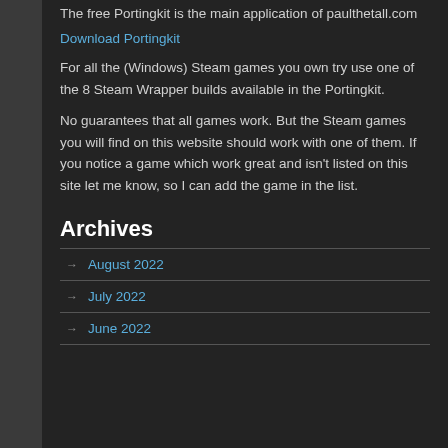The free Portingkit is the main application of paulthetall.com
Download Portingkit
For all the (Windows) Steam games you own try use one of the 8 Steam Wrapper builds available in the Portingkit.
No guarantees that all games work. But the Steam games you will find on this website should work with one of them. If you notice a game which work great and isn't listed on this site let me know, so I can add the game in the list.
Archives
August 2022
July 2022
June 2022